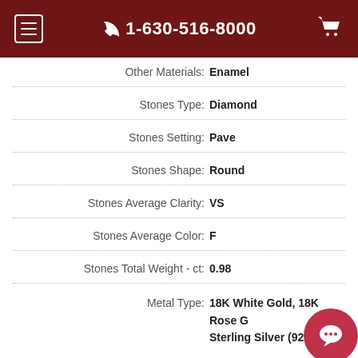1-630-516-8000
Other Materials: Enamel
Stones Type: Diamond
Stones Setting: Pave
Stones Shape: Round
Stones Average Clarity: VS
Stones Average Color: F
Stones Total Weight - ct: 0.98
Metal Type: 18K White Gold, 18K Rose G Sterling Silver (925)